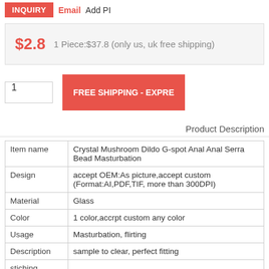INQUIRY  Email  Add PI
$2.8   1 Piece:$37.8 (only us, uk free shipping)
1   FREE SHIPPING - EXPRE
Product Description
|  |  |
| --- | --- |
| Item name | Crystal Mushroom Dildo G-spot Anal Anal Serra Bead Masturbation |
| Design | accept OEM:As picture,accept custom (Format:AI,PDF,TIF, more than 300DPI) |
| Material | Glass |
| Color | 1 color,accrpt custom any color |
| Usage | Masturbation, flirting |
| Description | sample to clear, perfect fitting |
| stiching |  |